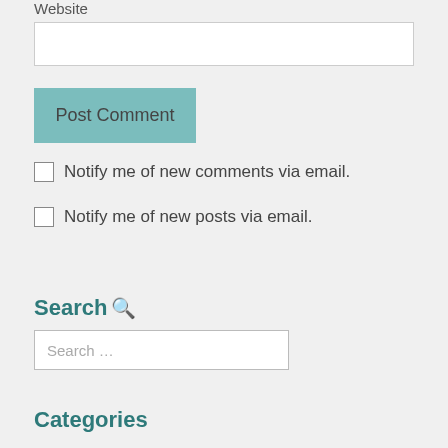Website
[Figure (screenshot): Website text input field (empty, white background, bordered)]
[Figure (screenshot): Post Comment button with teal/light-blue background]
Notify me of new comments via email.
Notify me of new posts via email.
Search 🔍
[Figure (screenshot): Search input field with placeholder text 'Search …']
Categories